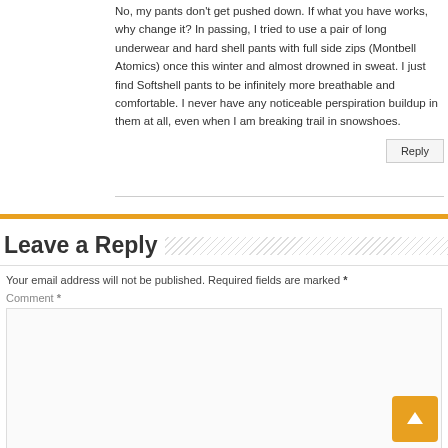No, my pants don't get pushed down. If what you have works, why change it? In passing, I tried to use a pair of long underwear and hard shell pants with full side zips (Montbell Atomics) once this winter and almost drowned in sweat. I just find Softshell pants to be infinitely more breathable and comfortable. I never have any noticeable perspiration buildup in them at all, even when I am breaking trail in snowshoes.
Leave a Reply
Your email address will not be published. Required fields are marked *
Comment *